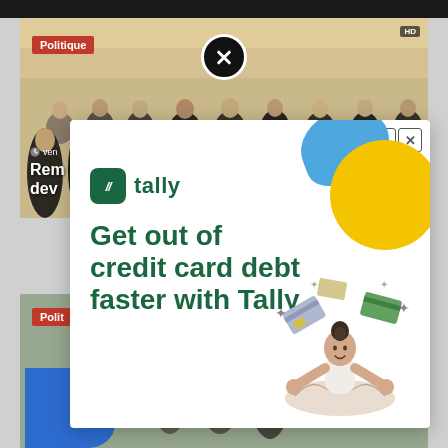[Figure (screenshot): Screenshot of a news website with a 'Politique' badge showing a group photo of government officials, overlaid by a Tally financial advertisement popup. The ad reads 'Get out of credit card debt faster with Tally' with the Tally logo and a meditation/juggling illustration. Below is another news card with a 'Polit' badge. A scroll-to-top red button appears at bottom right.]
Politique
tally
Get out of credit card debt faster with Tally
Polit